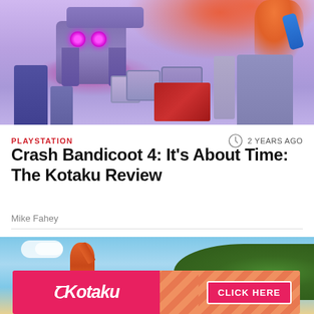[Figure (screenshot): Screenshot from Crash Bandicoot 4 game showing a purple/violet sci-fi environment with floating robot machine, orange Crash character, floating crates, and building structures]
PLAYSTATION
2 YEARS AGO
Crash Bandicoot 4: It's About Time: The Kotaku Review
Mike Fahey
[Figure (screenshot): Screenshot from Crash Bandicoot 4 game showing outdoor level with blue sky, white clouds, green hillside, and orange Crash character with arm extended]
[Figure (advertisement): Kotaku advertisement banner with pink/red background, Kotaku logo on left, diagonal stripe pattern in middle, and CLICK HERE button on right]